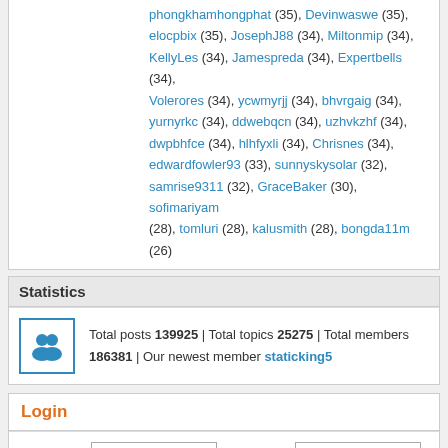phongkhamhongphat (35), Devinwaswe (35), elocpbix (35), JosephJ88 (34), Miltonmip (34), KellyLes (34), Jamespreda (34), Expertbells (34), Volerores (34), ycwmyrjj (34), bhvrgaig (34), yurnyrkc (34), ddwebqcn (34), uzhvkzhf (34), dwpbhfce (34), hlhfyxli (34), Chrisnes (34), edwardfowler93 (33), sunnyskysolar (32), samrise9311 (32), GraceBaker (30), sofimariyam (28), tomluri (28), kalusmith (28), bongda11m (26)
Statistics
Total posts 139925 | Total topics 25275 | Total members 186381 | Our newest member staticking5
Login
Username: [input] Password: [input] Log me on automatically each visit [checkbox] Login
Unread posts | No unread posts | Forum locked
Powered by phpBB® Forum Software © phpBB Group